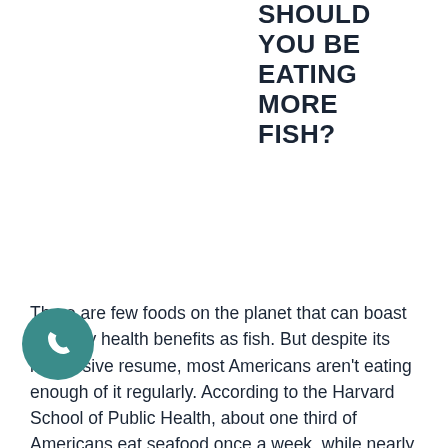SHOULD YOU BE EATING MORE FISH?
There are few foods on the planet that can boast as many health benefits as fish. But despite its impressive resume, most Americans aren't eating enough of it regularly. According to the Harvard School of Public Health, about one third of Americans eat seafood once a week, while nearly half eat fish only occasionally or not at all. It's unclear why we aren't eating enough, but what is clear is that fish can work wonders for our health. Let's take a look at the reasons why we should be eating more fish.